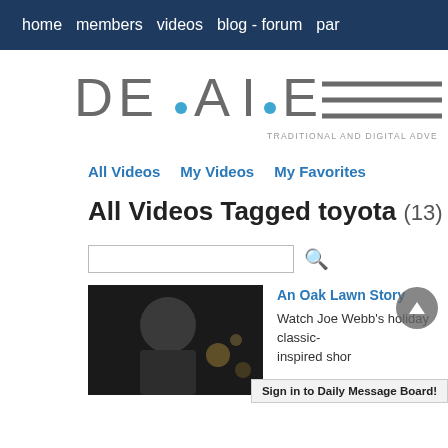home  members  videos  blog - forum  par
[Figure (logo): DE.AI.E logo with text TRADITIONAL AND DIGITAL ADVE]
All Videos  My Videos  My Favorites
All Videos Tagged toyota (13)
[Figure (screenshot): Search input box with magnifier icon]
[Figure (photo): Thumbnail image of a person in dark hat]
An Oak Lawn Story
Watch Joe Webb's holiday classic-inspired shor
Sign in to Daily Message Board!